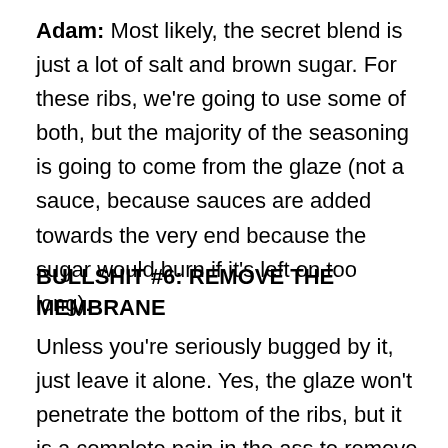Adam: Most likely, the secret blend is just a lot of salt and brown sugar.  For these ribs, we're going to use some of both, but the majority of the seasoning is going to come from the glaze (not a sauce, because sauces are added towards the very end because the sugar would burn if it's left on too long).
BULLSHIT #6: REMOVE THE MEMBRANE
Unless you're seriously bugged by it, just leave it alone.  Yes, the glaze won't penetrate the bottom of the ribs, but it is a complete pain in the ass to remove and ain't nobody got time for that.